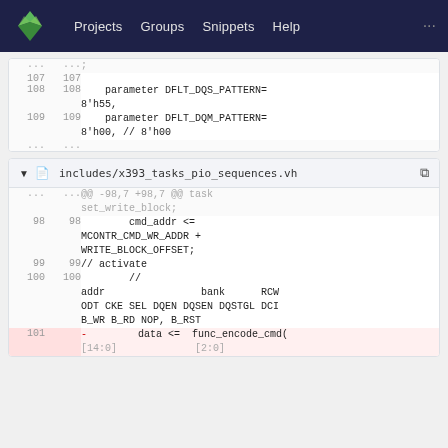[Figure (screenshot): Navigation bar with logo, Projects, Groups, Snippets, Help links on dark navy background]
107  107
108  108      parameter DFLT_DQS_PATTERN= 8'h55,
109  109      parameter DFLT_DQM_PATTERN= 8'h00, // 8'h00
...  ...
includes/x393_tasks_pio_sequences.vh
...  ...  @@ -98,7 +98,7 @@ task set_write_block;
98  98       cmd_addr <= MCONTR_CMD_WR_ADDR + WRITE_BLOCK_OFFSET;
99  99    // activate
100  100       //       addr                    bank      RCW ODT CKE SEL DQEN DQSEN DQSTGL DCI B_WR B_RD NOP, B_RST
101  -        data <=  func_encode_cmd(